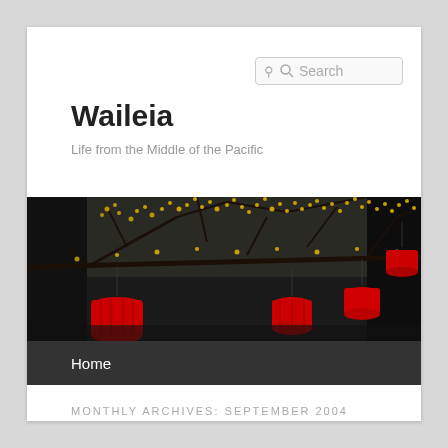Search
Waileia
Life from the Middle of the Pacific
[Figure (photo): Banner photo of tree branches with yellow blossoms and red paper lanterns hanging from them, dark background]
Home
MONTHLY ARCHIVES: SEPTEMBER 2004